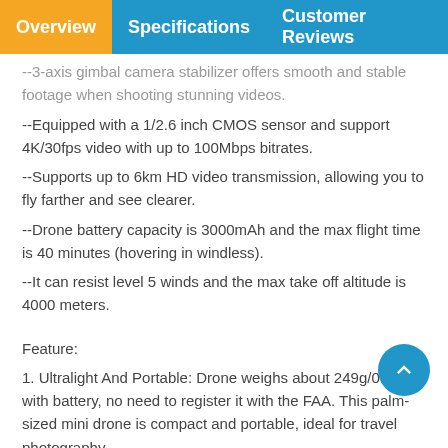Overview   Specifications   Customer Reviews
--3-axis gimbal camera stabilizer offers smooth and stable footage when shooting stunning videos.
--Equipped with a 1/2.6 inch CMOS sensor and support 4K/30fps video with up to 100Mbps bitrates.
--Supports up to 6km HD video transmission, allowing you to fly farther and see clearer.
--Drone battery capacity is 3000mAh and the max flight time is 40 minutes (hovering in windless).
--It can resist level 5 winds and the max take off altitude is 4000 meters.
Feature:
1. Ultralight And Portable: Drone weighs about 249g/0.55lbs with battery, no need to register it with the FAA. This palm-sized mini drone is compact and portable, ideal for travel photography.
2. Quick Transfer: Thanks to the quick transfer function, it enables you instantly download the footage to your phone and share to media with one-key only.